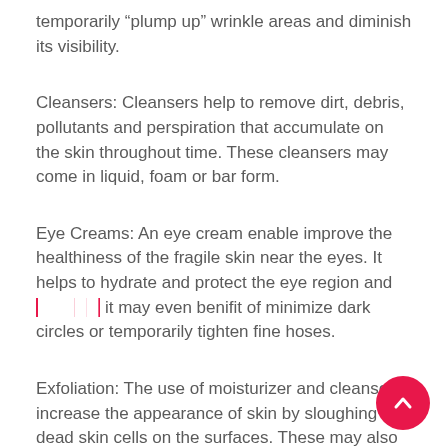temporarily “plump up” wrinkle areas and diminish its visibility.
Cleansers: Cleansers help to remove dirt, debris, pollutants and perspiration that accumulate on the skin throughout time. These cleansers may come in liquid, foam or bar form.
Eye Creams: An eye cream enable improve the healthiness of the fragile skin near the eyes. It helps to hydrate and protect the eye region and [highlighted text] it may even benifit of minimize dark circles or temporarily tighten fine hoses.
Exfoliation: The use of moisturizer and cleansers increase the appearance of skin by sloughing off dead skin cells on the surfaces. These may also benefits of smooth the skin’s appearance and even discoloration from over exposure to...